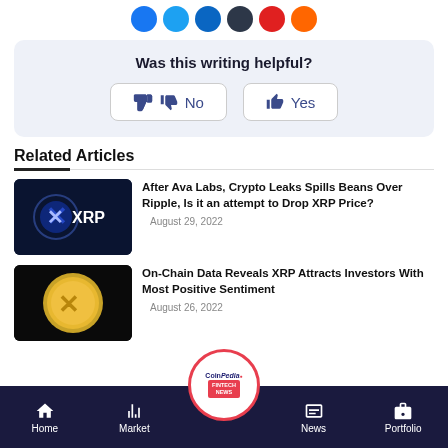[Figure (illustration): Row of social media sharing icons (Facebook, Twitter, LinkedIn, dark share, Reddit, WhatsApp) as colored circles]
Was this writing helpful?
No   Yes
Related Articles
[Figure (photo): XRP logo on dark blue background with X symbol and text XRP]
After Ava Labs, Crypto Leaks Spills Beans Over Ripple, Is it an attempt to Drop XRP Price?
August 29, 2022
[Figure (photo): Gold XRP coin on black background]
On-Chain Data Reveals XRP Attracts Investors With Most Positive Sentiment
August 26, 2022
Home   Market   CoinPedia FINTECH NEWS   News   Portfolio